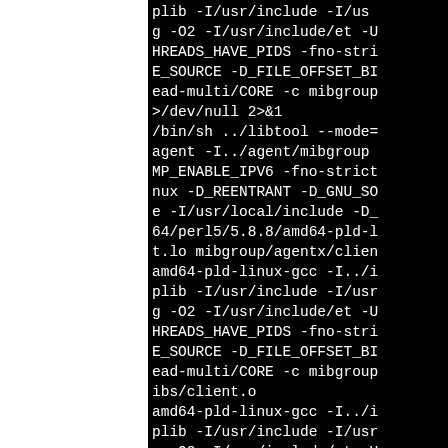plib -I/usr/include -I/usr g -O2 -I/usr/include/et -U HREADS_HAVE_PIDS -fno-stri E_SOURCE -D_FILE_OFFSET_BI ead-multi/CORE -c mibgroup >/dev/null 2>&1 /bin/sh ../libtool --mode= agent -I../agent/mibgroup MP_ENABLE_IPV6 -fno-strict nux -D_REENTRANT -D_GNU_SO e -I/usr/local/include -D_ 64/perl5/5.8.8/amd64-pld-l t.lo mibgroup/agentx/clien amd64-pld-linux-gcc -I../i plib -I/usr/include -I/usr g -O2 -I/usr/include/et -U HREADS_HAVE_PIDS -fno-stri E_SOURCE -D_FILE_OFFSET_BI ead-multi/CORE -c mibgroup ibs/client.o amd64-pld-linux-gcc -I../i plib -I/usr/include -I/usr g -O2 -I/usr/include/et -U HREADS_HAVE_PIDS -fno-str